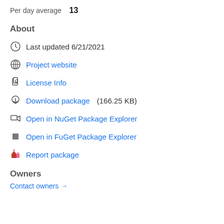Per day average  13
About
Last updated 6/21/2021
Project website
License Info
Download package  (166.25 KB)
Open in NuGet Package Explorer
Open in FuGet Package Explorer
Report package
Owners
Contact owners →